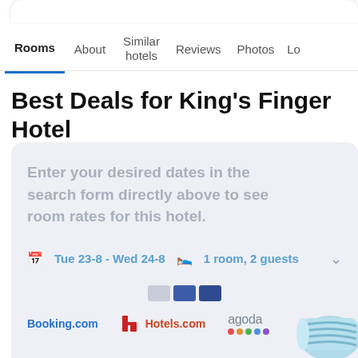Rooms | About | Similar hotels | Reviews | Photos | Lo...
Best Deals for King's Finger Hotel
Enter your desired dates in the search form directly above to see room rates for this hotel.
Tue 23-8 - Wed 24-8   1 room, 2 guests
[Figure (screenshot): Booking provider logos: Booking.com, Hotels.com, agoda]